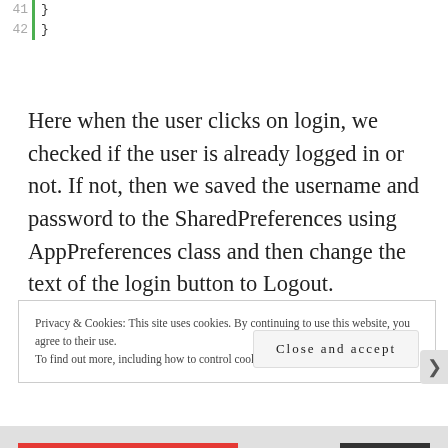41    }
42  }
Here when the user clicks on login, we checked if the user is already logged in or not. If not, then we saved the username and password to the SharedPreferences using AppPreferences class and then change the text of the login button to Logout.
Privacy & Cookies: This site uses cookies. By continuing to use this website, you agree to their use.
To find out more, including how to control cookies, see here: Cookie Policy
Close and accept